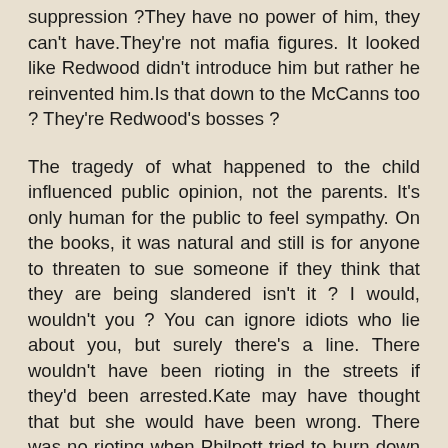suppression ?They have no power of him, they can't have.They're not mafia figures. It looked like Redwood didn't introduce him but rather he reinvented him.Is that down to the McCanns too ? They're Redwood's bosses ?
The tragedy of what happened to the child influenced public opinion, not the parents. It's only human for the public to feel sympathy. On the books, it was natural and still is for anyone to threaten to sue someone if they think that they are being slandered isn't it ? I would, wouldn't you ? You can ignore idiots who lie about you, but surely there's a line. There wouldn't have been rioting in the streets if they'd been arrested.Kate may have thought that but she would have been wrong. There was no rioting when Philpott tried to burn down his house with his kids inside and then pretended to weep on TV. The public aren't as shockable as they used to be. Threatening to sue people if you think they're implying or accusing you of hiding your